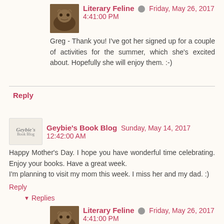Literary Feline  Friday, May 26, 2017 4:41:00 PM
Greg - Thank you! I've got her signed up for a couple of activities for the summer, which she's excited about. Hopefully she will enjoy them. :-)
Reply
Geybie's Book Blog  Sunday, May 14, 2017 12:42:00 AM
Happy Mother's Day. I hope you have wonderful time celebrating. Enjoy your books. Have a great week.
I'm planning to visit my mom this week. I miss her and my dad. :)
Reply
▼  Replies
Literary Feline  Friday, May 26, 2017 4:41:00 PM